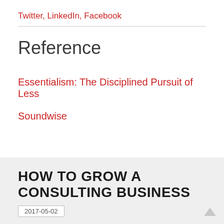Twitter, LinkedIn, Facebook
Reference
Essentialism: The Disciplined Pursuit of Less
Soundwise
HOW TO GROW A CONSULTING BUSINESS
2017-05-02